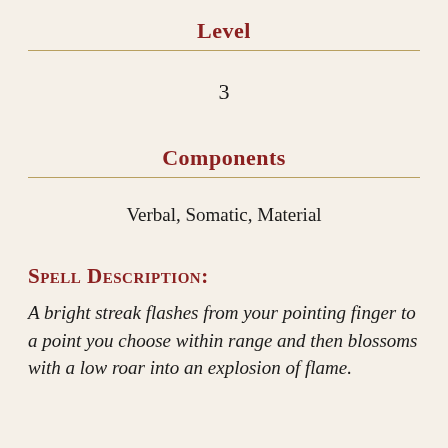Level
3
Components
Verbal, Somatic, Material
Spell Description:
A bright streak flashes from your pointing finger to a point you choose within range and then blossoms with a low roar into an explosion of flame.